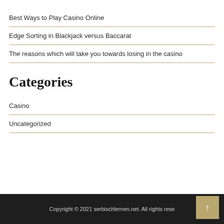Best Ways to Play Casino Online
Edge Sorting in Blackjack versus Baccarat
The reasons which will take you towards losing in the casino
Categories
Casino
Uncategorized
Copyright © 2021 serbischlernen.net. All rights rese